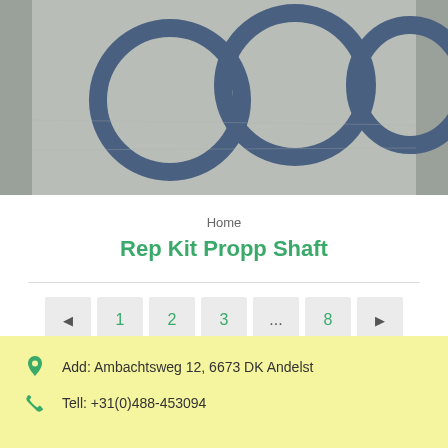[Figure (photo): Photo of blue O-ring seals / repair kit components for propeller shaft, placed on a gray surface. Three ring-shaped rubber seals visible.]
Home
Rep Kit Propp Shaft
◄  1  2  3  …  8  ►
Add: Ambachtsweg 12, 6673 DK Andelst
Tell: +31(0)488-453094